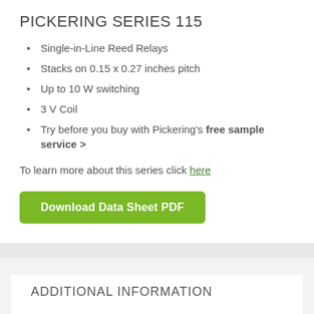PICKERING SERIES 115
Single-in-Line Reed Relays
Stacks on 0.15 x 0.27 inches pitch
Up to 10 W switching
3 V Coil
Try before you buy with Pickering's free sample service >
To learn more about this series click here
Download Data Sheet PDF
ADDITIONAL INFORMATION